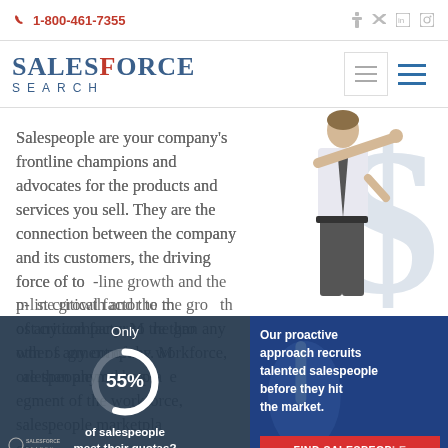1-800-461-7355
[Figure (logo): SalesForce Search logo with stylized text]
Salespeople are your company's frontline champions and advocates for the products and services you sell. They are the connection between the company and its customers, the driving force of top-line growth and the most critical factor to the growth of any company. More than any other segment of the workforce, salespeople marketplace...
[Figure (infographic): Dark overlay banner showing 'Only 55% of salespeople meet their quotas?' with a circular donut chart and SalesForce Search logo]
[Figure (infographic): Blue overlay banner with text 'Our proactive approach recruits talented salespeople before they hit the market.' and a red FIND SALESPEOPLE button]